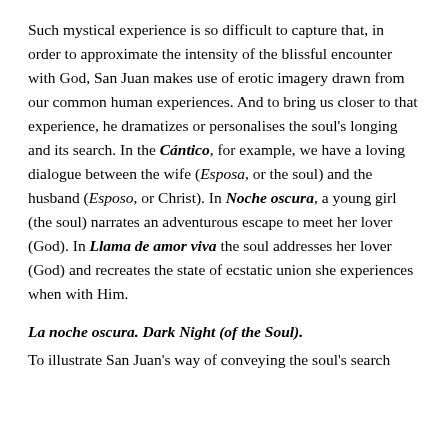Such mystical experience is so difficult to capture that, in order to approximate the intensity of the blissful encounter with God, San Juan makes use of erotic imagery drawn from our common human experiences. And to bring us closer to that experience, he dramatizes or personalises the soul's longing and its search. In the Cántico, for example, we have a loving dialogue between the wife (Esposa, or the soul) and the husband (Esposo, or Christ). In Noche oscura, a young girl (the soul) narrates an adventurous escape to meet her lover (God). In Llama de amor viva the soul addresses her lover (God) and recreates the state of ecstatic union she experiences when with Him.
La noche oscura. Dark Night (of the Soul).
To illustrate San Juan's way of conveying the soul's search